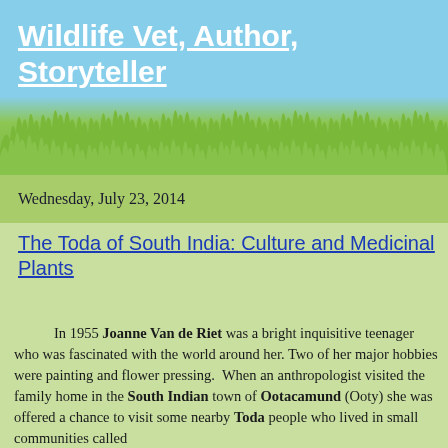Wildlife Vet, Author, Storyteller
Wednesday, July 23, 2014
The Toda of South India: Culture and Medicinal Plants
In 1955 Joanne Van de Riet was a bright inquisitive teenager who was fascinated with the world around her. Two of her major hobbies were painting and flower pressing. When an anthropologist visited the family home in the South Indian town of Ootacamund (Ooty) she was offered a chance to visit some nearby Toda people who lived in small communities called